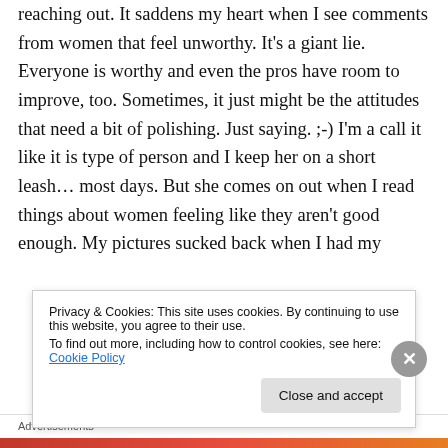reaching out. It saddens my heart when I see comments from women that feel unworthy. It's a giant lie. Everyone is worthy and even the pros have room to improve, too. Sometimes, it just might be the attitudes that need a bit of polishing. Just saying. ;-) I'm a call it like it is type of person and I keep her on a short leash… most days. But she comes on out when I read things about women feeling like they aren't good enough. My pictures sucked back when I had my
Privacy & Cookies: This site uses cookies. By continuing to use this website, you agree to their use.
To find out more, including how to control cookies, see here: Cookie Policy
Close and accept
Advertisements